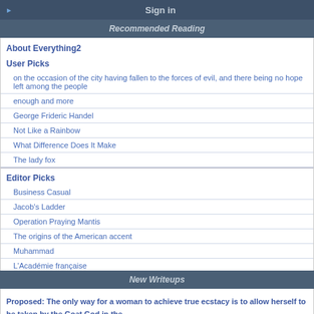Sign in
Recommended Reading
About Everything2
User Picks
on the occasion of the city having fallen to the forces of evil, and there being no hope left among the people
enough and more
George Frideric Handel
Not Like a Rainbow
What Difference Does It Make
The lady fox
Editor Picks
Business Casual
Jacob's Ladder
Operation Praying Mantis
The origins of the American accent
Muhammad
L'Académie française
New Writeups
Proposed: The only way for a woman to achieve true ecstacy is to allow herself to be taken by the Goat God in the